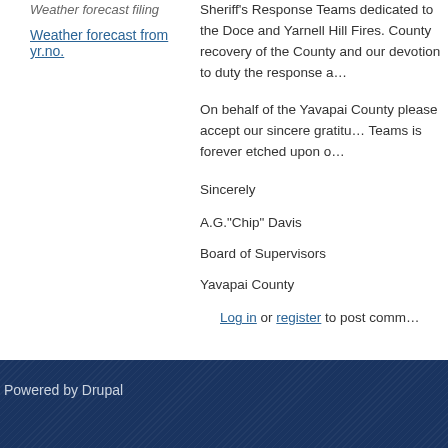Weather forecast from yr.no.
Sheriff's Response Teams dedicated to the Doce and Yarnell Hill Fires. County recovery of the County and our devotion to duty the response a…
On behalf of the Yavapai County please accept our sincere gratitu… Teams is forever etched upon o…
Sincerely
A.G."Chip" Davis
Board of Supervisors
Yavapai County
Log in or register to post comm…
Powered by Drupal